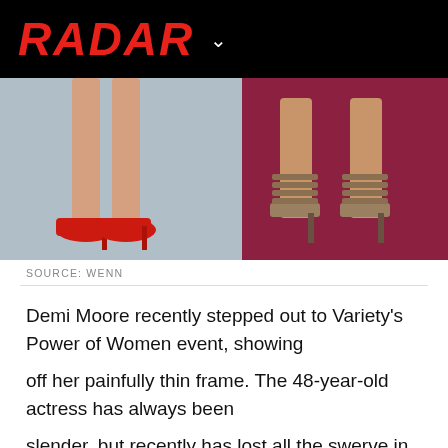RADAR
[Figure (photo): Two side-by-side close-up photos of women's legs and shoes: left photo shows legs in red high heels on gray background; right photo shows feet in strappy heeled sandals on a red carpet.]
SOURCE: WENN
Demi Moore recently stepped out to Variety's Power of Women event, showing
off her painfully thin frame. The 48-year-old actress has always been
slender, but recently has lost all the swerve in her curves. People are